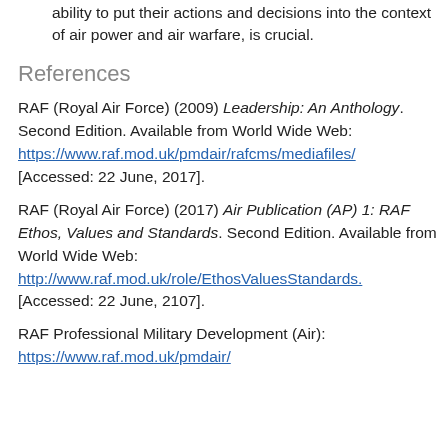ability to put their actions and decisions into the context of air power and air warfare, is crucial.
References
RAF (Royal Air Force) (2009) Leadership: An Anthology. Second Edition. Available from World Wide Web: https://www.raf.mod.uk/pmdair/rafcms/mediafiles/ [Accessed: 22 June, 2017].
RAF (Royal Air Force) (2017) Air Publication (AP) 1: RAF Ethos, Values and Standards. Second Edition. Available from World Wide Web: http://www.raf.mod.uk/role/EthosValuesStandards. [Accessed: 22 June, 2107].
RAF Professional Military Development (Air): https://www.raf.mod.uk/pmdair/